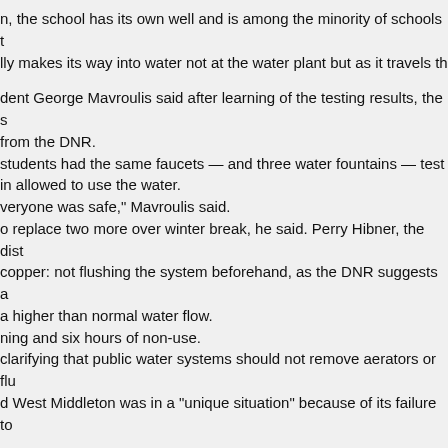n, the school has its own well and is among the minority of schools that makes its way into water not at the water plant but as it travels th
dent George Mavroulis said after learning of the testing results, the from the DNR. students had the same faucets — and three water fountains — test in allowed to use the water. veryone was safe," Mavroulis said. o replace two more over winter break, he said. Perry Hibner, the dist copper: not flushing the system beforehand, as the DNR suggests a a higher than normal water flow. ning and six hours of non-use. clarifying that public water systems should not remove aerators or flu d West Middleton was in a "unique situation" because of its failure to
t two rounds of testing in the next year to assure the water is safe —
mbrinidou, a Virginia Tech University researcher who helped train Fl t, especially after Flint." king water."